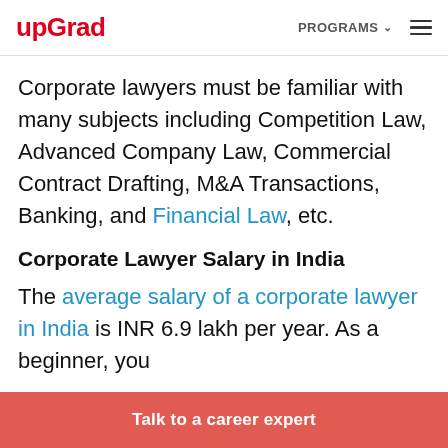upGrad | PROGRAMS
Corporate lawyers must be familiar with many subjects including Competition Law, Advanced Company Law, Commercial Contract Drafting, M&A Transactions, Banking, and Financial Law, etc.
Corporate Lawyer Salary in India
The average salary of a corporate lawyer in India is INR 6.9 lakh per year. As a beginner, you
Talk to a career expert